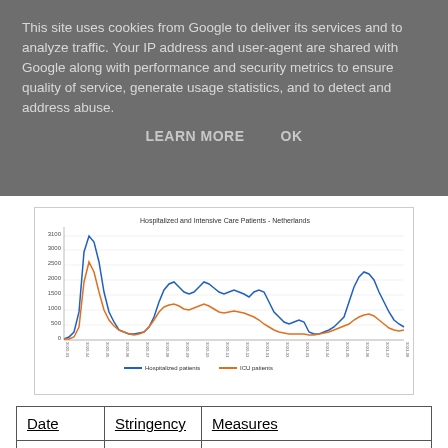This site uses cookies from Google to deliver its services and to analyze traffic. Your IP address and user-agent are shared with Google along with performance and security metrics to ensure quality of service, generate usage statistics, and to detect and address abuse.
LEARN MORE   OK
[Figure (line-chart): Line chart showing hospitalized patients (blue) and ICU patients (orange) in the Netherlands over time from 2020 to 2021. Blue line peaks around 3100 in early 2020, with subsequent waves reaching around 2000–2200. Orange line peaks around 1400 in early 2020, with lower subsequent peaks around 800–900.]
| Date | Stringency | Measures |
| --- | --- | --- |
| 20210710 | 36.11 | Schools: Recommended closed |